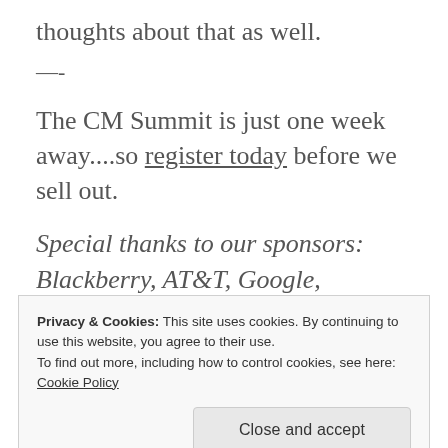thoughts about that as well.
—-
The CM Summit is just one week away....so register today before we sell out.
Special thanks to our sponsors: Blackberry, AT&T, Google, Quantcast, Demand Media,
Privacy & Cookies: This site uses cookies. By continuing to use this website, you agree to their use.
To find out more, including how to control cookies, see here: Cookie Policy
Close and accept
Roadie, Spiceworks, and Ustream. And a shout